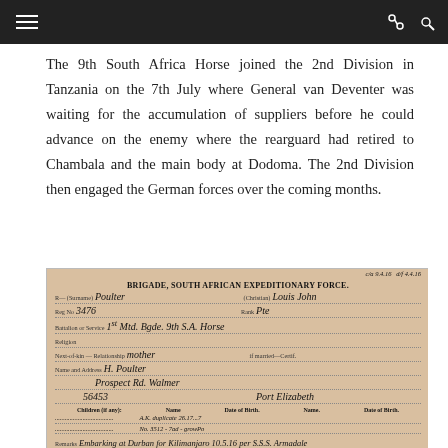Navigation bar with hamburger menu and icons
The 9th South Africa Horse joined the 2nd Division in Tanzania on the 7th July where General van Deventer was waiting for the accumulation of suppliers before he could advance on the enemy where the rearguard had retired to Chambala and the main body at Dodoma. The 2nd Division then engaged the German forces over the coming months.
[Figure (photo): Scanned military enlistment/service record from Brigade, South African Expeditionary Force. Record shows: Surname Poulter, Christian name Louis John, Reg No 3476, Rank Pte, Battalion or Service 1st Mtd Bgde 9th S.A. Horse, Next-of-kin Mother, H. Poulter, 56453 Prospect Rd, Walmer, Port Elizabeth. Remarks: Embarking at Durban for Kilimanjaro 10.5.16 per S.S. Armadale Castle disembarked 8.5.16. Disembarked at Cape Town on H.M.T. and further handwritten remarks.]